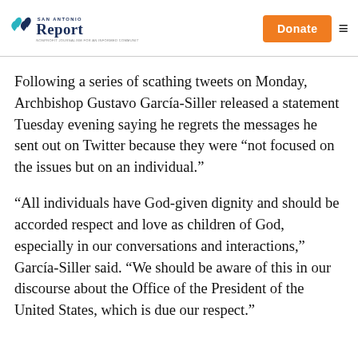San Antonio Report — Donate
Following a series of scathing tweets on Monday, Archbishop Gustavo García-Siller released a statement Tuesday evening saying he regrets the messages he sent out on Twitter because they were “not focused on the issues but on an individual.”
“All individuals have God-given dignity and should be accorded respect and love as children of God, especially in our conversations and interactions,” García-Siller said. “We should be aware of this in our discourse about the Office of the President of the United States, which is due our respect.”